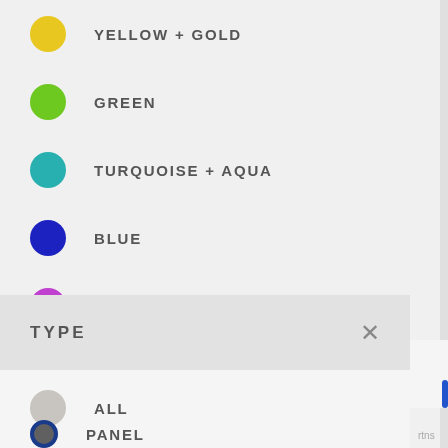YELLOW + GOLD
GREEN
TURQUOISE + AQUA
BLUE
PURPLE + BURGUNDY
PINK + BLUSH
METALLIC
SILVER
BEIGE
TYPE
ALL
PANEL